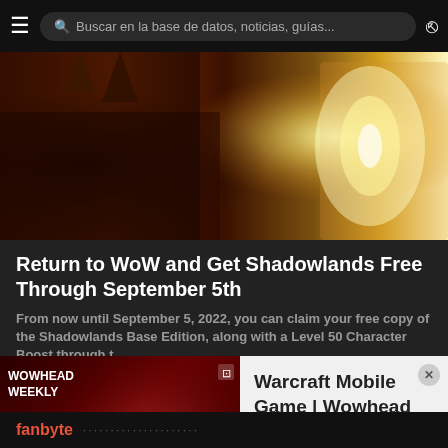Buscar en la base de datos, noticias, guías...
[Figure (photo): World of Warcraft character artwork — armored figure with glowing axe on dark orange background]
Return to WoW and Get Shadowlands Free Through September 5th
From now until September 5, 2022, you can claim your free copy of the Shadowlands Base Edition, along with a Level 50 Character Boost through t...
Publicado hace 22 h 6 min por perculia
[Figure (screenshot): Wowhead Weekly #299 video thumbnail with anime-style characters]
Warcraft Mobile Game | Wowhead Weekly #299
fanbyte